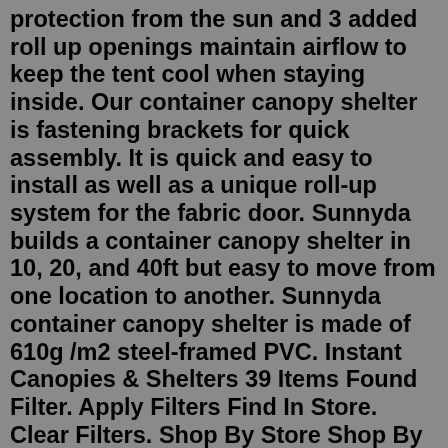protection from the sun and 3 added roll up openings maintain airflow to keep the tent cool when staying inside. Our container canopy shelter is fastening brackets for quick assembly. It is quick and easy to install as well as a unique roll-up system for the fabric door. Sunnyda builds a container canopy shelter in 10, 20, and 40ft but easy to move from one location to another. Sunnyda container canopy shelter is made of 610g /m2 steel-framed PVC. Instant Canopies & Shelters 39 Items Found Filter. Apply Filters Find In Store. Clear Filters. Shop By Store Shop By Store Categories. Color. Blue Refine by ... Mitchell Metals can provide mailbox canopies designed with your community's needs in mind. To learn more about our eye-appealing and functional mailbox shelters, give Mitchell Metals a call today at 770-766-5521. We look forward to the opportunity to work with you to select the right aluminum canopy systems for your building needs. □Want a different color?. Mint Green makes the tent UNIQUE for passers-by to spot you! Outdoor